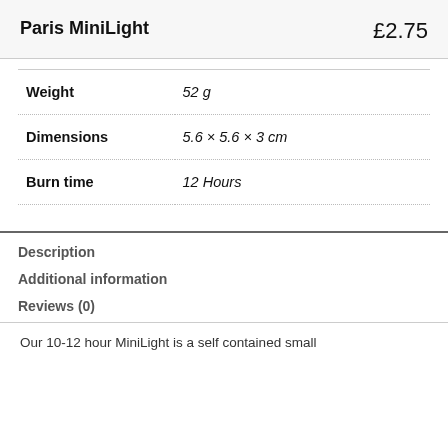Paris MiniLight
£2.75
| Weight | 52 g |
| Dimensions | 5.6 × 5.6 × 3 cm |
| Burn time | 12 Hours |
Description
Additional information
Reviews (0)
Our 10-12 hour MiniLight is a self contained small